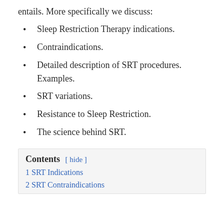entails. More specifically we discuss:
Sleep Restriction Therapy indications.
Contraindications.
Detailed description of SRT procedures. Examples.
SRT variations.
Resistance to Sleep Restriction.
The science behind SRT.
Contents [ hide ]
1 SRT Indications
2 SRT Contraindications